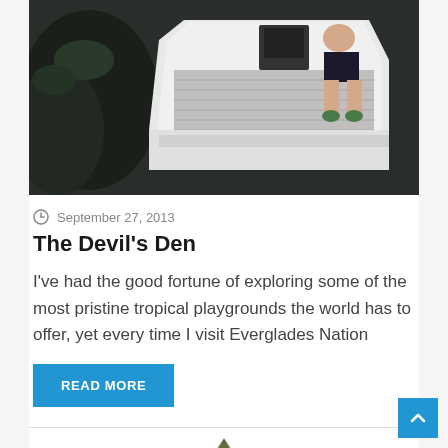[Figure (photo): Aerial or high-angle view of a white boat on dark water, with a person sitting on the deck near the console]
September 27, 2013
The Devil's Den
I've had the good fortune of exploring some of the most pristine tropical playgrounds the world has to offer, yet every time I visit Everglades Nation
READ MORE
[Figure (photo): Close-up of a fish fin or tail emerging from water, with spotted/scaled pattern visible]